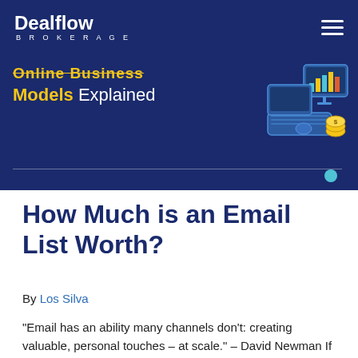Dealflow Brokerage
[Figure (illustration): Dealflow Brokerage website banner showing 'Online Business Models Explained' with a laptop illustration and gold coins. Dark navy blue background with yellow and white text.]
How Much is an Email List Worth?
By Los Silva
“Email has an ability many channels don’t: creating valuable, personal touches – at scale.” – David Newman If you are not making the most out of your email list, or maybe don’t even have one yet, stop